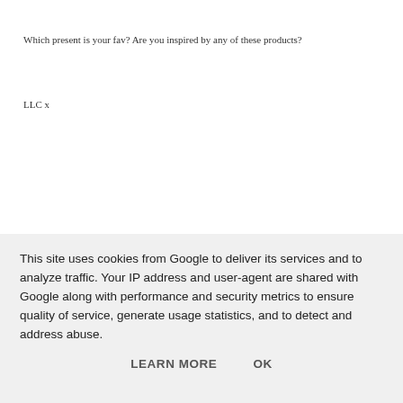Which present is your fav? Are you inspired by any of these products?
LLC x
This site uses cookies from Google to deliver its services and to analyze traffic. Your IP address and user-agent are shared with Google along with performance and security metrics to ensure quality of service, generate usage statistics, and to detect and address abuse.
LEARN MORE    OK